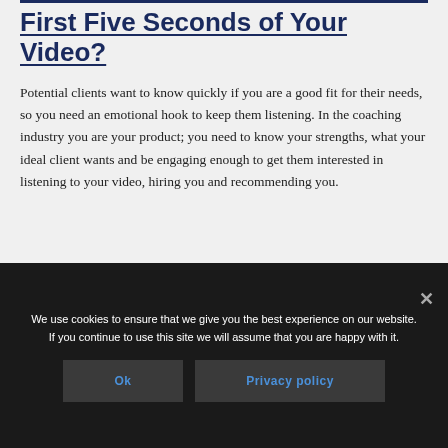First Five Seconds of Your Video?
Potential clients want to know quickly if you are a good fit for their needs, so you need an emotional hook to keep them listening. In the coaching industry you are your product; you need to know your strengths, what your ideal client wants and be engaging enough to get them interested in listening to your video, hiring you and recommending you.
We use cookies to ensure that we give you the best experience on our website. If you continue to use this site we will assume that you are happy with it. Ok Privacy policy